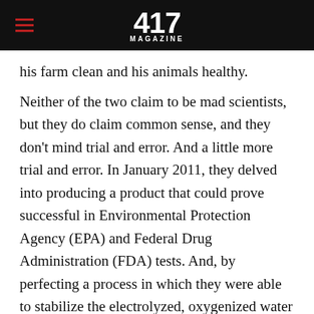417 MAGAZINE
his farm clean and his animals healthy.
Neither of the two claim to be mad scientists, but they do claim common sense, and they don't mind trial and error. And a little more trial and error. In January 2011, they delved into producing a product that could prove successful in Environmental Protection Agency (EPA) and Federal Drug Administration (FDA) tests. And, by perfecting a process in which they were able to stabilize the electrolyzed, oxygenized water and give it a shelf life, they produced Nixall.
What Can Nixall Do?